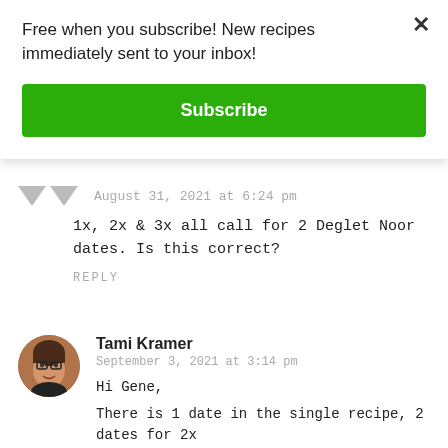Free when you subscribe! New recipes immediately sent to your inbox!
Subscribe
August 31, 2021 at 6:24 pm
1x, 2x & 3x all call for 2 Deglet Noor dates. Is this correct?
REPLY
Tami Kramer
September 3, 2021 at 3:14 pm
Hi Gene,
There is 1 date in the single recipe, 2 dates for 2x